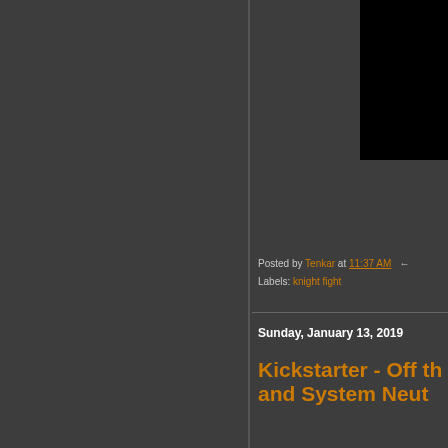[Figure (photo): Dark image block in upper right area, mostly black]
Posted by Tenkar at 11:37 AM
Labels: knight fight
Sunday, January 13, 2019
Kickstarter - Off th... and System Neut...